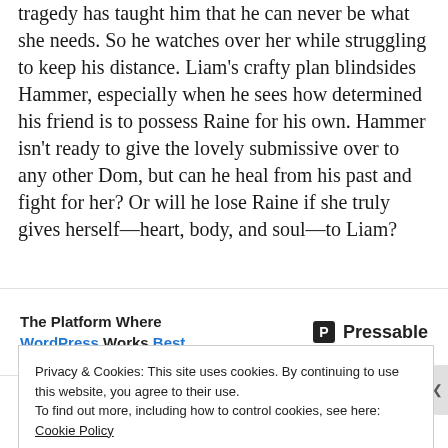tragedy has taught him that he can never be what she needs. So he watches over her while struggling to keep his distance. Liam's crafty plan blindsides Hammer, especially when he sees how determined his friend is to possess Raine for his own. Hammer isn't ready to give the lovely submissive over to any other Dom, but can he heal from his past and fight for her? Or will he lose Raine if she truly gives herself—heart, body, and soul—to Liam?
[Figure (screenshot): Advertisement banner: 'The Platform Where WordPress Works Best' with Pressable logo]
Series Reading Order
Privacy & Cookies: This site uses cookies. By continuing to use this website, you agree to their use. To find out more, including how to control cookies, see here: Cookie Policy
Close and accept